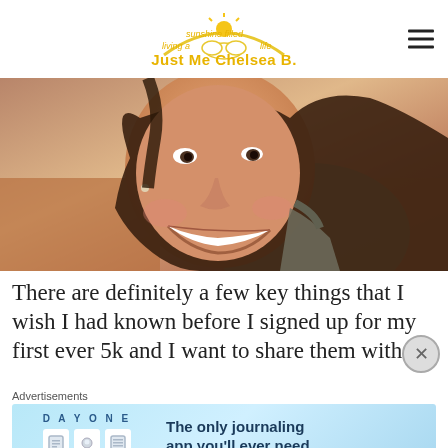Just Me Chelsea B. — living a sunshine filled life
[Figure (photo): Smiling young woman with long dark hair, lying down, selfie-style photo]
There are definitely a few key things that I wish I had known before I signed up for my first ever 5k and I want to share them with
Advertisements
[Figure (screenshot): DAY ONE — The only journaling app you'll ever need. Advertisement banner with icons.]